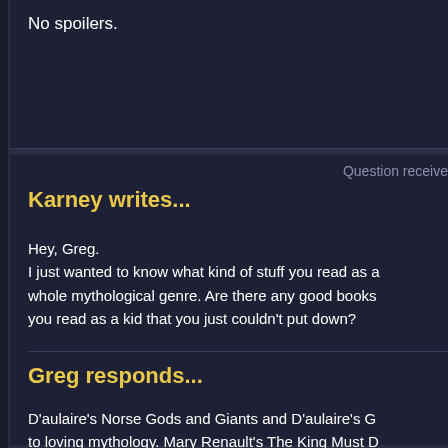No spoilers.
Question receive
Karney writes...
Hey, Greg.
I just wanted to know what kind of stuff you read as a whole mythological genre. Are there any good books you read as a kid that you just couldn't put down?
Greg responds...
D'aulaire's Norse Gods and Giants and D'aulaire's G to loving mythology. Mary Renault's The King Must D also influential, as was Mary Stewart's tetralogy abou Also Roger Lancelyn Green's King Arthur and His Kn were many others, too. But those got me started.